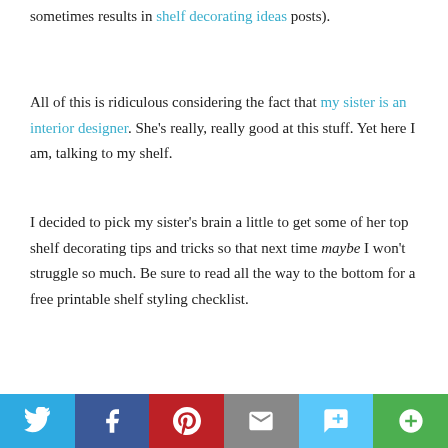sometimes results in shelf decorating ideas posts).
All of this is ridiculous considering the fact that my sister is an interior designer. She's really, really good at this stuff. Yet here I am, talking to my shelf.
I decided to pick my sister's brain a little to get some of her top shelf decorating tips and tricks so that next time maybe I won't struggle so much. Be sure to read all the way to the bottom for a free printable shelf styling checklist.
CONTINUE READING
Sharing is caring!